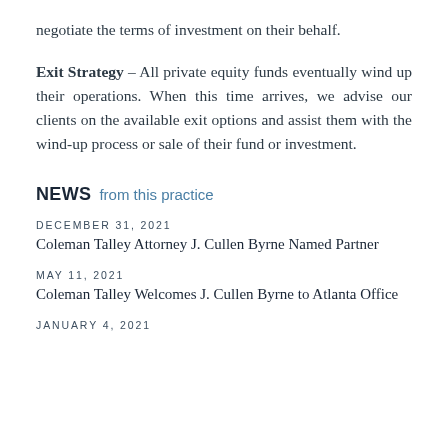negotiate the terms of investment on their behalf.
Exit Strategy – All private equity funds eventually wind up their operations. When this time arrives, we advise our clients on the available exit options and assist them with the wind-up process or sale of their fund or investment.
NEWS from this practice
DECEMBER 31, 2021
Coleman Talley Attorney J. Cullen Byrne Named Partner
MAY 11, 2021
Coleman Talley Welcomes J. Cullen Byrne to Atlanta Office
JANUARY 4, 2021